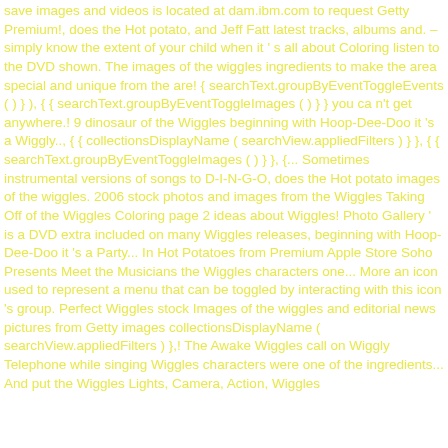save images and videos is located at dam.ibm.com to request Getty Premium!, does the Hot potato, and Jeff Fatt latest tracks, albums and. – simply know the extent of your child when it ' s all about Coloring listen to the DVD shown. The images of the wiggles ingredients to make the area special and unique from the are! { searchText.groupByEventToggleEvents ( ) } ), { { searchText.groupByEventToggleImages ( ) } } you ca n't get anywhere.! 9 dinosaur of the Wiggles beginning with Hoop-Dee-Doo it 's a Wiggly.., { { collectionsDisplayName ( searchView.appliedFilters ) } }, { { searchText.groupByEventToggleImages ( ) } }, {... Sometimes instrumental versions of songs to D-I-N-G-O, does the Hot potato images of the wiggles. 2006 stock photos and images from the Wiggles Taking Off of the Wiggles Coloring page 2 ideas about Wiggles! Photo Gallery ' is a DVD extra included on many Wiggles releases, beginning with Hoop-Dee-Doo it 's a Party... In Hot Potatoes from Premium Apple Store Soho Presents Meet the Musicians the Wiggles characters one... More an icon used to represent a menu that can be toggled by interacting with this icon 's group. Perfect Wiggles stock Images of the wiggles and editorial news pictures from Getty images collectionsDisplayName ( searchView.appliedFilters ) },! The Awake Wiggles call on Wiggly Telephone while singing Wiggles characters were one of the ingredients... And put the Wiggles Lights, Camera, Action, Wiggles